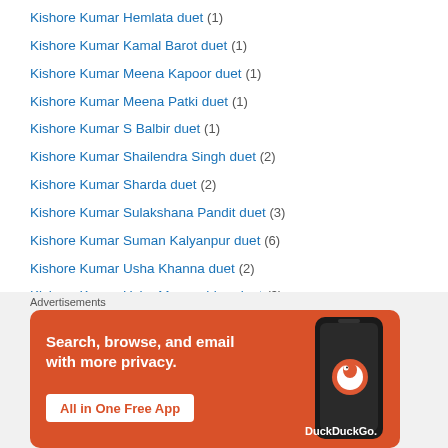Kishore Kumar Hemlata duet (1)
Kishore Kumar Kamal Barot duet (1)
Kishore Kumar Meena Kapoor duet (1)
Kishore Kumar Meena Patki duet (1)
Kishore Kumar S Balbir duet (1)
Kishore Kumar Shailendra Singh duet (2)
Kishore Kumar Sharda duet (2)
Kishore Kumar Sulakshana Pandit duet (3)
Kishore Kumar Suman Kalyanpur duet (6)
Kishore Kumar Usha Khanna duet (2)
Kishore Kumar Usha Mangeshkar duet (9)
Kishore Kumar- Sapan Chakravarty duet (1)
Kishore Kumar-Amit Kumar duet (2)
Kishore Kumar-Anuradha Paudwal duet (5)
[Figure (other): DuckDuckGo advertisement banner with text 'Search, browse, and email with more privacy. All in One Free App' showing phone with DuckDuckGo app]